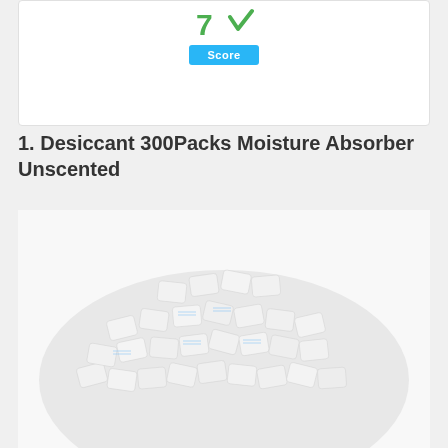[Figure (infographic): Score badge showing '7' with a green checkmark icon and a cyan 'Score' label below it, displayed in a white card]
1. Desiccant 300Packs Moisture Absorber Unscented
[Figure (photo): Large pile of small white desiccant silica gel packets with light blue text printed on them, photographed from above]